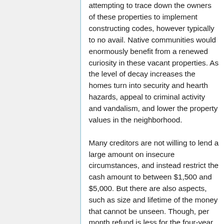attempting to trace down the owners of these properties to implement constructing codes, however typically to no avail. Native communities would enormously benefit from a renewed curiosity in these vacant properties. As the level of decay increases the homes turn into security and hearth hazards, appeal to criminal activity and vandalism, and lower the property values in the neighborhood.
Many creditors are not willing to lend a large amount on insecure circumstances, and instead restrict the cash amount to between $1,500 and $5,000. But there are also aspects, such as size and lifetime of the money that cannot be unseen. Though, per month refund is less for the four-year money.